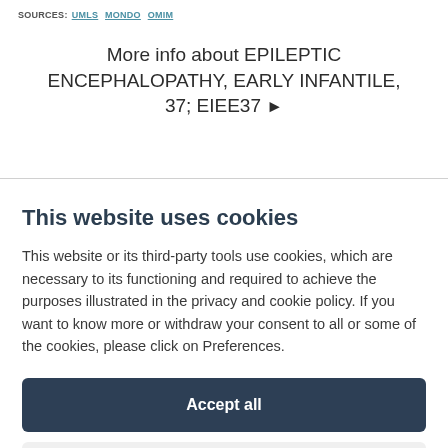SOURCES: UMLS MONDO OMIM
More info about EPILEPTIC ENCEPHALOPATHY, EARLY INFANTILE, 37; EIEE37 ▶
This website uses cookies
This website or its third-party tools use cookies, which are necessary to its functioning and required to achieve the purposes illustrated in the privacy and cookie policy. If you want to know more or withdraw your consent to all or some of the cookies, please click on Preferences.
Accept all
Preferences